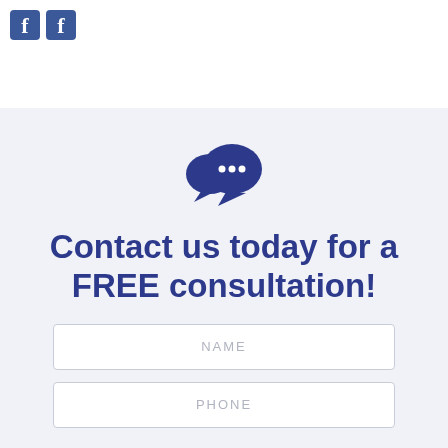[Figure (logo): Two dark blue square Facebook-style icon squares in the top left corner]
[Figure (illustration): Two overlapping chat/speech bubble icons in dark blue, indicating messaging or consultation]
Contact us today for a FREE consultation!
NAME
PHONE